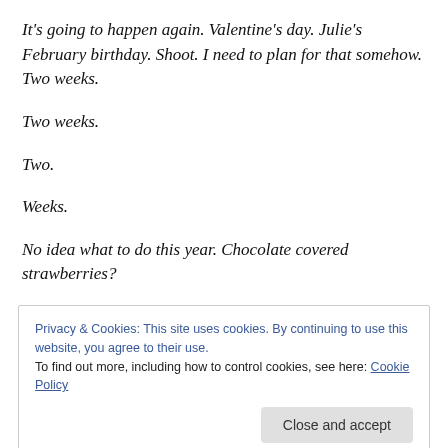It's going to happen again. Valentine's day. Julie's February birthday. Shoot. I need to plan for that somehow. Two weeks.
Two weeks.
Two.
Weeks.
No idea what to do this year. Chocolate covered strawberries?
Privacy & Cookies: This site uses cookies. By continuing to use this website, you agree to their use. To find out more, including how to control cookies, see here: Cookie Policy
When we read Love Languages we identified what yours